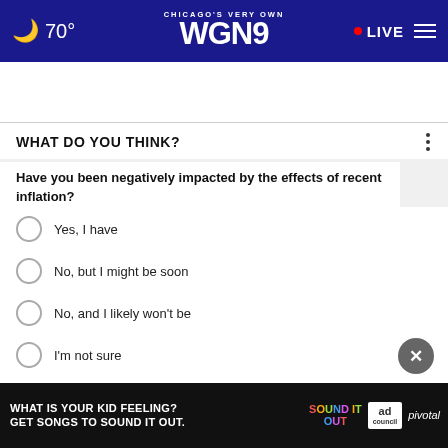🌙 70° | CHICAGO'S VERY OWN WGN9 | • LIVE ☰
Category
WHAT DO YOU THINK?
Have you been negatively impacted by the effects of recent inflation?
Yes, I have
No, but I might be soon
No, and I likely won't be
I'm not sure
Other / No opinion
[Figure (screenshot): Advertisement banner: WHAT IS YOUR KID FEELING? GET SONGS TO SOUND IT OUT. | SOUND IT OUT | ad council | pivotal]